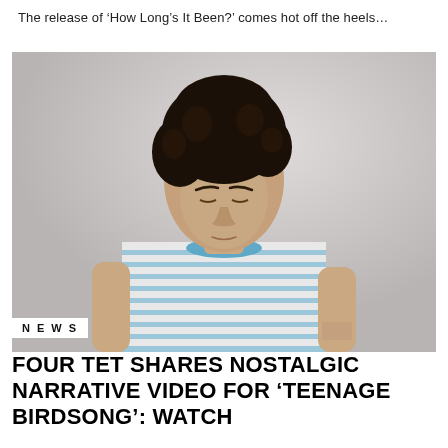The release of ‘How Long’s It Been?’ comes hot off the heels…
[Figure (photo): Young man with curly dark hair wearing a blue and white striped t-shirt, looking downward against a light grey background]
NEWS
FOUR TET SHARES NOSTALGIC NARRATIVE VIDEO FOR ‘TEENAGE BIRDSONG’: WATCH